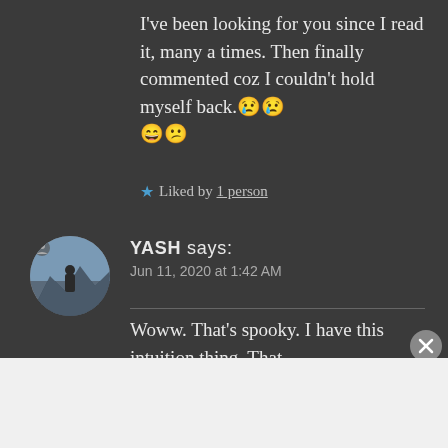I've been looking for you since I read it, many a times. Then finally commented coz I couldn't hold myself back.😢😢😄😕
★ Liked by 1 person
YASH says:
Jun 11, 2020 at 1:42 AM
Woww. That's spooky. I have this intuition thing. That
Advertisements
[Figure (screenshot): WooCommerce advertisement banner: 'How to start selling subscriptions online']